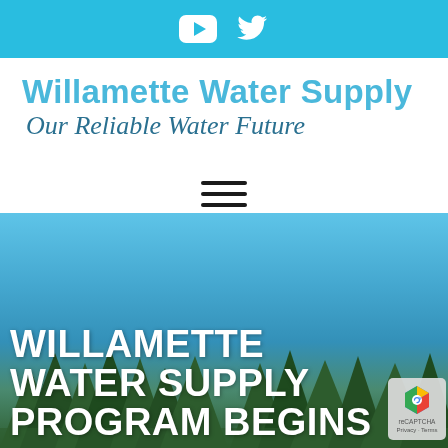[Figure (screenshot): Top social media bar with YouTube and Twitter icons on cyan/light-blue background]
Willamette Water Supply
Our Reliable Water Future
[Figure (other): Hamburger menu icon (three horizontal lines)]
[Figure (photo): Hero background: blue sky with evergreen tree silhouettes at bottom, blue gradient overlay]
WILLAMETTE WATER SUPPLY PROGRAM BEGINS